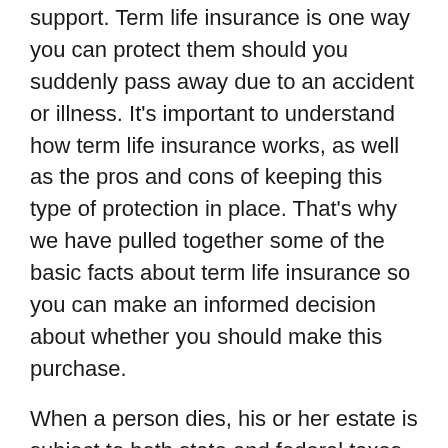support. Term life insurance is one way you can protect them should you suddenly pass away due to an accident or illness. It's important to understand how term life insurance works, as well as the pros and cons of keeping this type of protection in place. That's why we have pulled together some of the basic facts about term life insurance so you can make an informed decision about whether you should make this purchase.
When a person dies, his or her estate is subject to both state and federal taxes. Life insurance proceeds are not taxed and the money becomes available to your loved ones immediately.
Term life insurance proceeds are paid out at once. After death, an estate must go through probate. This can be a lengthy process, and